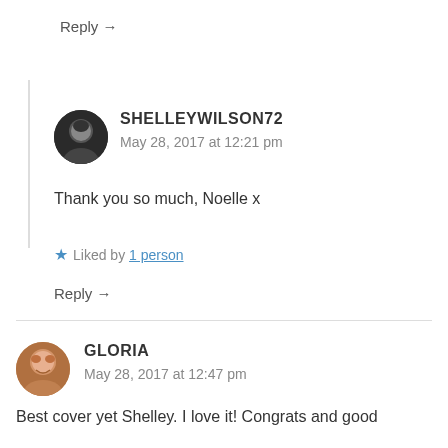Reply →
SHELLEYWILSON72
May 28, 2017 at 12:21 pm
Thank you so much, Noelle x
★ Liked by 1 person
Reply →
GLORIA
May 28, 2017 at 12:47 pm
Best cover yet Shelley. I love it! Congrats and good